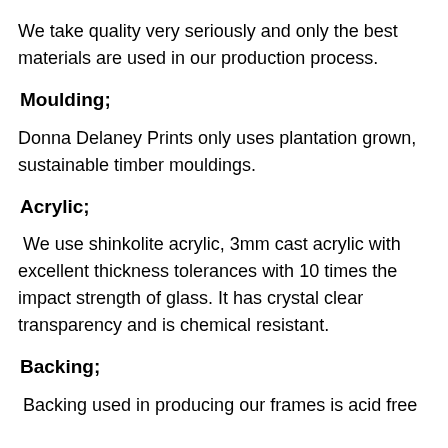We take quality very seriously and only the best materials are used in our production process.
Moulding;
Donna Delaney Prints only uses plantation grown, sustainable timber mouldings.
Acrylic;
We use shinkolite acrylic, 3mm cast acrylic with excellent thickness tolerances with 10 times the impact strength of glass. It has crystal clear transparency and is chemical resistant.
Backing;
Backing used in producing our frames is acid free